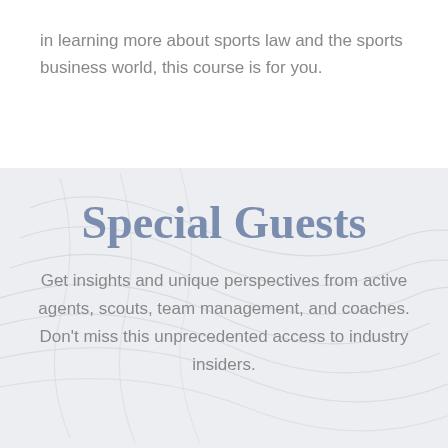in learning more about sports law and the sports business world, this course is for you.
Special Guests
Get insights and unique perspectives from active agents, scouts, team management, and coaches. Don't miss this unprecedented access to industry insiders.